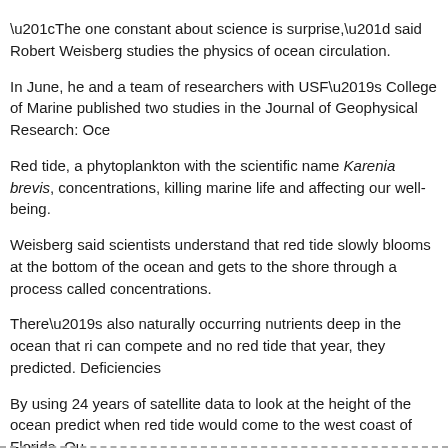“The one constant about science is surprise,” said Robert Weisberg studies the physics of ocean circulation.
In June, he and a team of researchers with USF’s College of Marine published two studies in the Journal of Geophysical Research: Oce
Red tide, a phytoplankton with the scientific name Karenia brevis, concentrations, killing marine life and affecting our well-being.
Weisberg said scientists understand that red tide slowly blooms at the bottom of the ocean and gets to the shore through a process called concentrations.
There’s also naturally occurring nutrients deep in the ocean that ri can compete and no red tide that year, they predicted. Deficiencies
By using 24 years of satellite data to look at the height of the ocean predict when red tide would come to the west coast of Florida. Ou
Four of the predictions said red tide would come when it actually d
Continued in the Bradenton Herald »